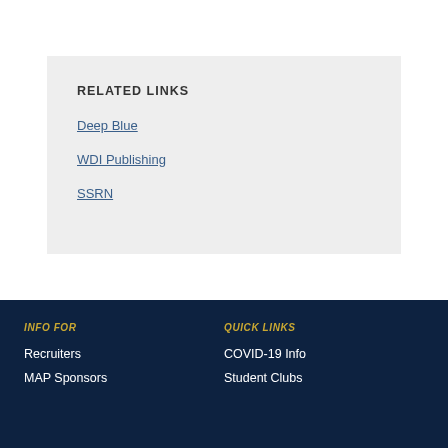RELATED LINKS
Deep Blue
WDI Publishing
SSRN
INFO FOR
QUICK LINKS
Recruiters
MAP Sponsors
COVID-19 Info
Student Clubs